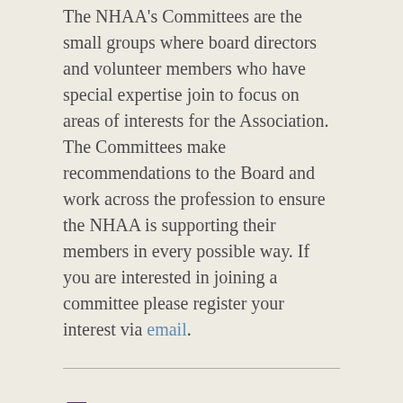The NHAA's Committees are the small groups where board directors and volunteer members who have special expertise join to focus on areas of interests for the Association. The Committees make recommendations to the Board and work across the profession to ensure the NHAA is supporting their members in every possible way. If you are interested in joining a committee please register your interest via email.
Events
The Events Committee's primary function is to organize the Association's events consisting of: